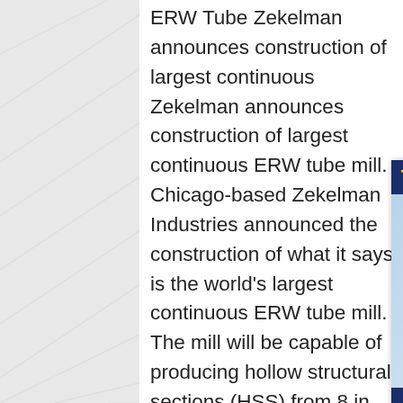ERW Tube Zekelman announces construction of largest continuous Zekelman announces construction of largest continuous ERW tube mill. Chicago-based Zekelman Industries announced the construction of what it says is the world's largest continuous ERW tube mill. The mill will be capable of producing hollow structural sections (HSS) from 8 in. sq. by 0.750-in. wall to 22 in. sq. by 1-in. wall. Zekelman Industries to invest $150 million in Zekelman Industries to Build Largest Continuous ERW Tube Zekelman Industries announced today the construction of a new continuous ERW tube mill. The mill will be capable of producing hollow structural sections (HSS) with a size range of 8" square x
[Figure (other): Online customer service advertisement widget with '7X24 Online' header in dark blue and gold, a photo of a smiling woman wearing a customer service headset, and a 'Hello, may I help you?' tagline with a 'Get Latest Price' yellow button.]